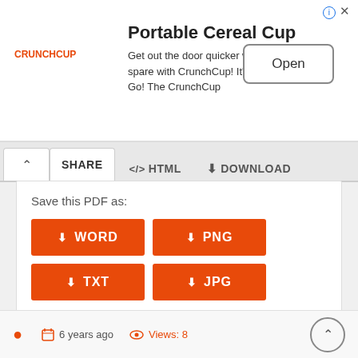[Figure (screenshot): Ad banner for Portable Cereal Cup / CrunchCup with Open button]
Portable Cereal Cup
Get out the door quicker with time to spare with CrunchCup! It's Cereal on the Go! The CrunchCup
[Figure (screenshot): Navigation tabs: SHARE, </> HTML, download DOWNLOAD]
Save this PDF as:
[Figure (screenshot): Download buttons: WORD, PNG, TXT, JPG and social share icons including Facebook, Twitter, LinkedIn, Pinterest, Tumblr, scribd, Reddit, WordPress, plus button, count 0]
6 years ago   Views: 8